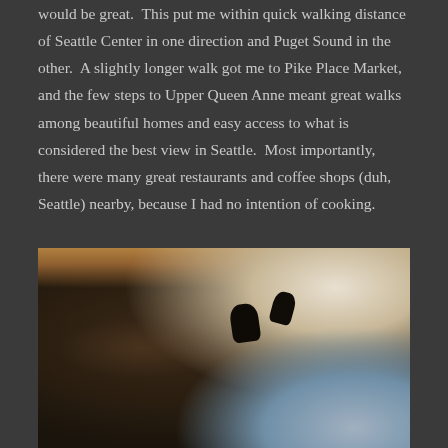would be great.  This put me within quick walking distance of Seattle Center in one direction and Puget Sound in the other.  A slightly longer walk got me to Pike Place Market, and the few steps to Upper Queen Anne meant great walks among beautiful homes and easy access to what is considered the best view in Seattle.  Most importantly, there were many great restaurants and coffee shops (duh, Seattle) nearby, because I had no intention of cooking.
[Figure (photo): Photo of a dark brindle French Bulldog or Boston Terrier lying curled up on a gray sofa/armchair, with its head resting on the armrest. The dog has large upright ears. The background shows bright window light and what appears to be a wooden chair.]